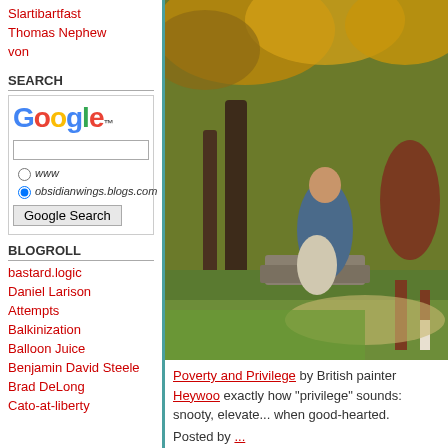Slartibartfast
Thomas Nephew
von
SEARCH
[Figure (screenshot): Google search widget with logo, text input, radio buttons for www and obsidianwings.blogs.com, and Google Search button]
BLOGROLL
bastard.logic
Daniel Larison
Attempts
Balkinization
Balloon Juice
Benjamin David Steele
Brad DeLong
Cato-at-liberty
[Figure (photo): Victorian oil painting 'Poverty and Privilege' showing two women with a child sitting by a stone wall in a wooded setting, with a brown horse and rider visible on the right]
Poverty and Privilege by British painter Heywoo... exactly how "privilege" sounds: snooty, elevate... when good-hearted.
Posted by...